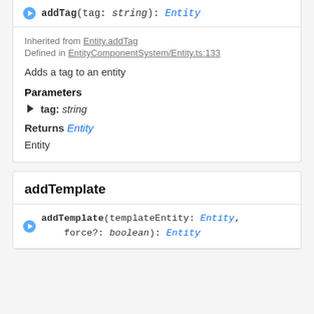▶ addTag(tag: string): Entity
Inherited from Entity.addTag
Defined in EntityComponentSystem/Entity.ts:133
Adds a tag to an entity
Parameters
tag: string
Returns Entity
Entity
addTemplate
▶ addTemplate(templateEntity: Entity, force?: boolean): Entity